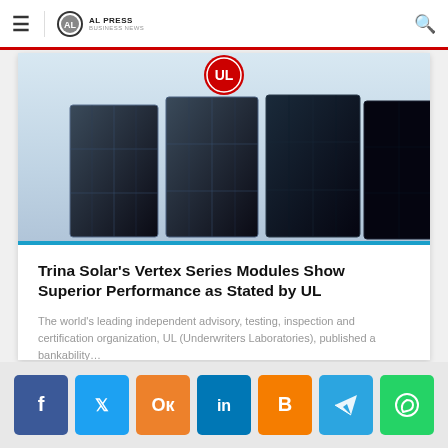AL Press Business News
[Figure (photo): Solar panels (Trina Solar Vertex Series modules) arranged in a row against a light background with a UL logo badge at the top center. A blue horizontal line appears at the bottom of the image.]
Trina Solar's Vertex Series Modules Show Superior Performance as Stated by UL
The world's leading independent advisory, testing, inspection and certification organization, UL (Underwriters Laboratories), published a bankability…